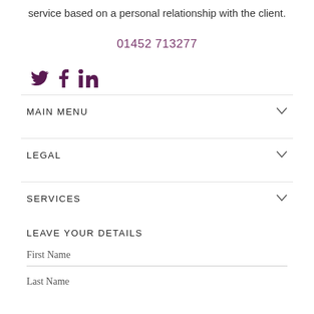service based on a personal relationship with the client.
01452 713277
[Figure (other): Social media icons: Twitter (bird), Facebook (f), LinkedIn (in) in purple/dark plum color]
MAIN MENU
LEGAL
SERVICES
LEAVE YOUR DETAILS
First Name
Last Name